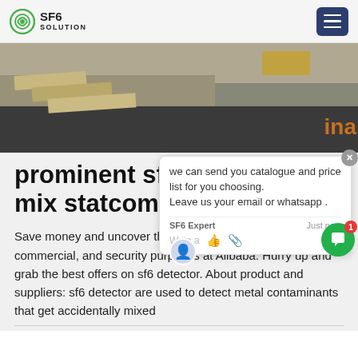SF6 SOLUTION
[Figure (photo): Outdoor industrial site with gravel ground, concrete slabs, cables, and a vehicle in background. Orange text partially visible on right side reading 'ina'.]
[Figure (screenshot): Chat popup overlay with message: 'we can send you catalogue and price list for you choosing. Leave us your email or whatsapp .' Attributed to SF6 Expert, just now. Has thumbs up and paperclip icons and a 'Write a' input area.]
prominent sf6 mix statcom
Save money and uncover the finest sf6 detector for industrial, commercial, and security purposes at Alibaba. Hurry up and grab the best offers on sf6 detector. About product and suppliers: sf6 detector are used to detect metal contaminants that get accidentally mixed